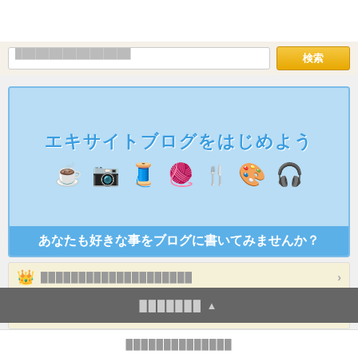[Figure (screenshot): Search bar with text input and orange search button labeled 検索]
[Figure (illustration): Banner for Excite Blog (エキサイトブログをはじめよう) with icons: tea cup, camera, thread spool, yarn ball, kitchen utensils, paint palette, headphones. Bottom bar reads: あなたも好きな事をブログに書いてみませんか？]
████████████████████
████████████
███████ ▲
██████████████